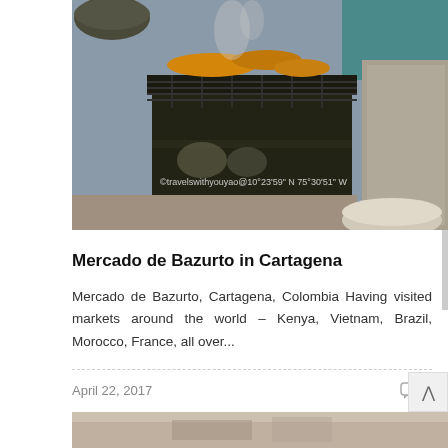[Figure (photo): Outdoor market grill scene in Cartagena, Colombia. A metal grill stand with food cooking on it, smoke rising. Watermark text reads: ©travelswithyouyao@10°23'59" N 75°30'51" W]
Mercado de Bazurto in Cartagena
Mercado de Bazurto, Cartagena, Colombia Having visited markets around the world – Kenya, Vietnam, Brazil, Morocco, France, all over...
April 22, 2017
0
[Figure (photo): Partial view of next blog post image at bottom of page]